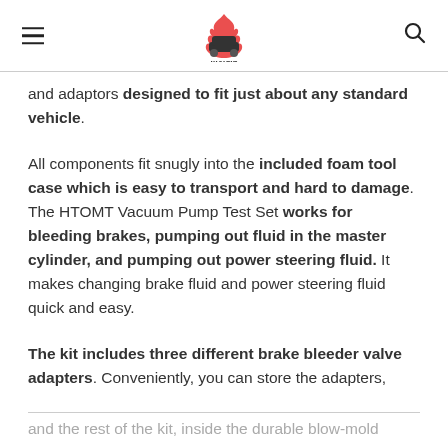[hamburger menu] [logo] [search icon]
and adaptors designed to fit just about any standard vehicle.
All components fit snugly into the included foam tool case which is easy to transport and hard to damage. The HTOMT Vacuum Pump Test Set works for bleeding brakes, pumping out fluid in the master cylinder, and pumping out power steering fluid. It makes changing brake fluid and power steering fluid quick and easy.
The kit includes three different brake bleeder valve adapters. Conveniently, you can store the adapters,
and the rest of the kit, inside the durable blow-mold